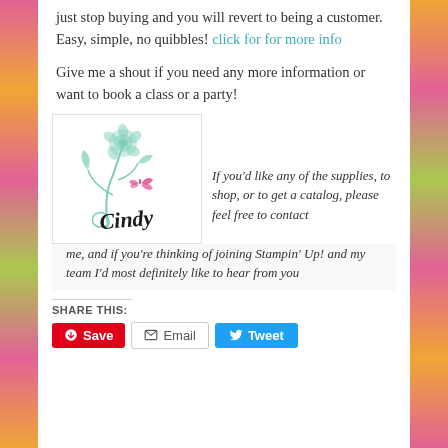just stop buying and you will revert to being a customer. Easy, simple, no quibbles! click for for more info
Give me a shout if you need any more information or want to book a class or a party!
[Figure (illustration): Signature image with mint green floral design and script text 'Cindy' with a pink butterfly]
If you'd like any of the supplies, to shop, or to get a catalog, please feel free to contact me, and if you're thinking of joining Stampin' Up! and my team I'd most definitely like to hear from you
SHARE THIS:
Save  Email  Tweet